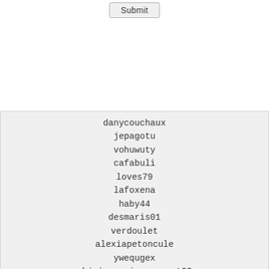[Figure (screenshot): A Submit button at the top center of the page]
danycouchaux
jepagotu
vohuwuty
cafabuli
loves79
lafoxena
haby44
desmaris01
verdoulet
alexiapetoncule
ywequgex
chimie-environnement22
vianneyakouatia
seqybejy
matang